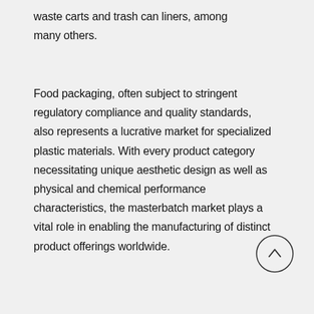waste carts and trash can liners, among many others.
Food packaging, often subject to stringent regulatory compliance and quality standards, also represents a lucrative market for specialized plastic materials. With every product category necessitating unique aesthetic design as well as physical and chemical performance characteristics, the masterbatch market plays a vital role in enabling the manufacturing of distinct product offerings worldwide.